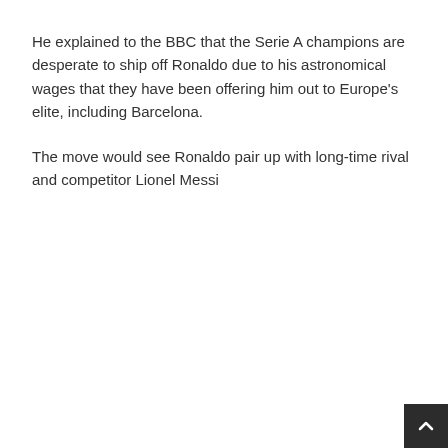He explained to the BBC that the Serie A champions are desperate to ship off Ronaldo due to his astronomical wages that they have been offering him out to Europe's elite, including Barcelona.
The move would see Ronaldo pair up with long-time rival and competitor Lionel Messi